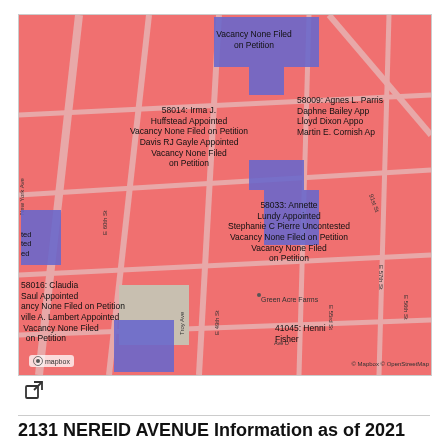[Figure (map): Street map showing Brooklyn/Queens NYC area with red and blue parcels. Blue parcels indicate election/appointment data. Labels include: 'Vacancy None Filed on Petition', '58014: Irma J. Huffstead Appointed Vacancy None Filed on Petition Davis RJ Gayle Appointed Vacancy None Filed on Petition', '58009: Agnes L. Parris Daphne Bailey App Lloyd Dixon Appo Martin E. Cornish Ap', '58033: Annette Lundy Appointed Stephanie C Pierre Uncontested Vacancy None Filed on Petition Vacancy None Filed on Petition', '58016: Claudia Saul Appointed ancy None Filed on Petition ville A. Lambert Appointed Vacancy None Filed on Petition', '41045: Henni Fisher'. Map credit: Mapbox, OpenStreetMap.]
2131 NEREID AVENUE Information as of 2021